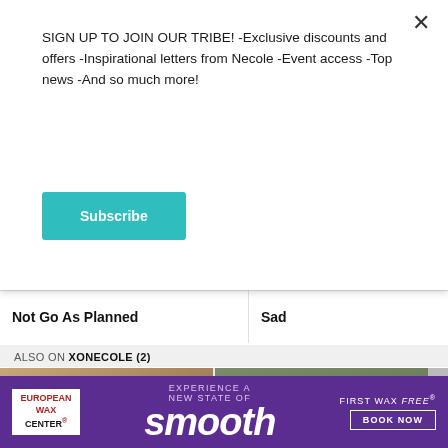SIGN UP TO JOIN OUR TRIBE! -Exclusive discounts and offers -Inspirational letters from Necole -Event access -Top news -And so much more!
Subscribe
Not Go As Planned
Sad
ALSO ON XONECOLE (2)
[Figure (photo): Couple kissing, woman with braids holding red flowers]
nths ago • 1 comment
xoNecole: Women's
[Figure (photo): Two women smiling together near shelving]
6 months ago • 1 comment
Zoë Kravitz Recalls Growing
[Figure (advertisement): European Wax Center ad — EXPERIENCE A NEW STATE OF smooth — FIRST WAX free BOOK NOW]